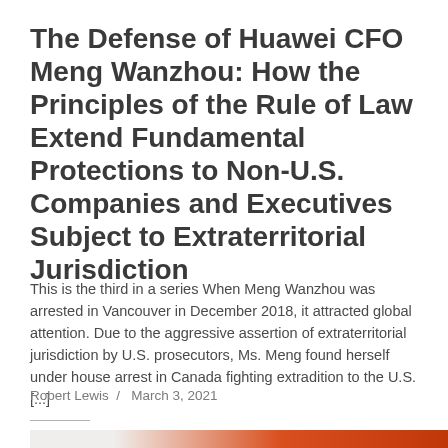The Defense of Huawei CFO Meng Wanzhou: How the Principles of the Rule of Law Extend Fundamental Protections to Non-U.S. Companies and Executives Subject to Extraterritorial Jurisdiction
This is the third in a series When Meng Wanzhou was arrested in Vancouver in December 2018, it attracted global attention. Due to the aggressive assertion of extraterritorial jurisdiction by U.S. prosecutors, Ms. Meng found herself under house arrest in Canada fighting extradition to the U.S. [...]
Robert Lewis / March 3, 2021
[Figure (photo): Partial view of an orange and white background image, likely related to the article subject.]